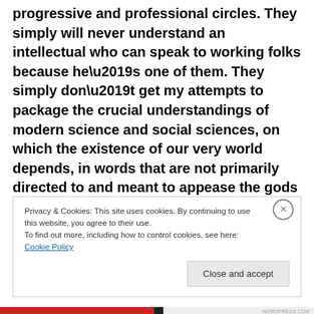progressive and professional circles. They simply will never understand an intellectual who can speak to working folks because he’s one of them. They simply don’t get my attempts to package the crucial understandings of modern science and social sciences, on which the existence of our very world depends, in words that are not primarily directed to and meant to appease the gods of academia. They consider themselves important within their tiny professional circles, thinking they are changing the world when no one even knows what they are doing
Privacy & Cookies: This site uses cookies. By continuing to use this website, you agree to their use.
To find out more, including how to control cookies, see here: Cookie Policy